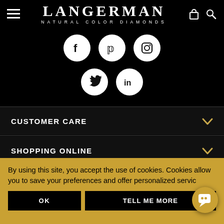[Figure (logo): Langerman Natural Color Diamonds logo with hamburger menu, shopping bag and search icons]
[Figure (infographic): Social media icons: Facebook, Pinterest, Instagram (row 1), Twitter, LinkedIn (row 2) as white circles on black background]
CUSTOMER CARE
SHOPPING ONLINE
BUYING GUIDES
By using this site, you accept the use of cookies. Cookies allow you to save your preferences and offer personalized servic
OK
TELL ME MORE